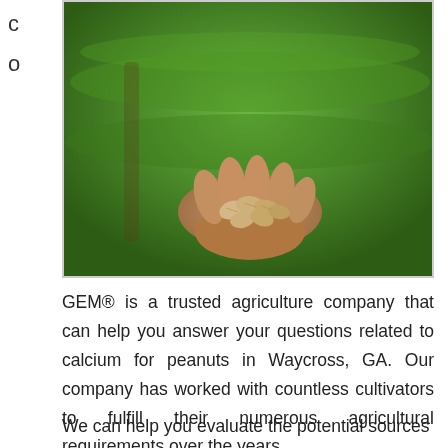c
o
[Figure (photo): A hand holding several peanuts over a lush green peanut field in the background]
GEM® is a trusted agriculture company that can help you answer your questions related to calcium for peanuts in Waycross, GA. Our company has worked with countless cultivators to fulfill their numerous agricultural requirements over the years.
We can help you evaluate the potential sources